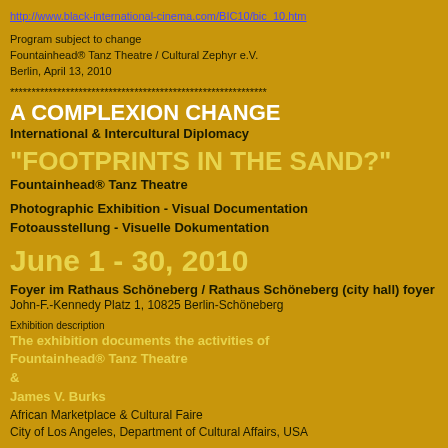http://www.black-international-cinema.com/BIC10/bic_10.htm
Program subject to change
Fountainhead® Tanz Theatre / Cultural Zephyr e.V.
Berlin, April 13, 2010
***********************************************************
A COMPLEXION CHANGE
International & Intercultural Diplomacy
"FOOTPRINTS IN THE SAND?"
Fountainhead® Tanz Theatre
Photographic Exhibition - Visual Documentation
Fotoausstellung - Visuelle Dokumentation
June 1 - 30, 2010
Foyer im Rathaus Schöneberg / Rathaus Schöneberg (city hall) foyer
John-F.-Kennedy Platz 1, 10825 Berlin-Schöneberg
Exhibition description
The exhibition documents the activities of
Fountainhead® Tanz Theatre
&
James V. Burks
African Marketplace & Cultural Faire
City of Los Angeles, Department of Cultural Affairs, USA